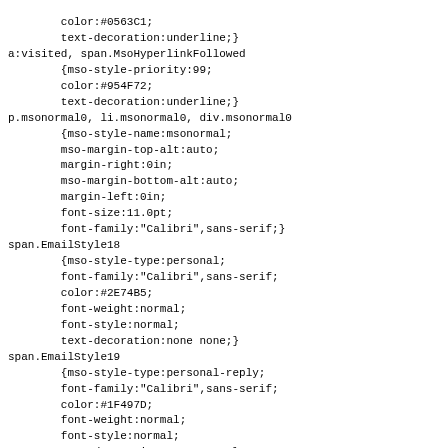color:#0563C1;
        text-decoration:underline;}
a:visited, span.MsoHyperlinkFollowed
        {mso-style-priority:99;
        color:#954F72;
        text-decoration:underline;}
p.msonormal0, li.msonormal0, div.msonormal0
        {mso-style-name:msonormal;
        mso-margin-top-alt:auto;
        margin-right:0in;
        mso-margin-bottom-alt:auto;
        margin-left:0in;
        font-size:11.0pt;
        font-family:"Calibri",sans-serif;}
span.EmailStyle18
        {mso-style-type:personal;
        font-family:"Calibri",sans-serif;
        color:#2E74B5;
        font-weight:normal;
        font-style:normal;
        text-decoration:none none;}
span.EmailStyle19
        {mso-style-type:personal-reply;
        font-family:"Calibri",sans-serif;
        color:#1F497D;
        font-weight:normal;
        font-style:normal;
        text-decoration:none none;}
.MsoChpDefault
        {mso-style-type:export-only;
        font-size:10.0pt;